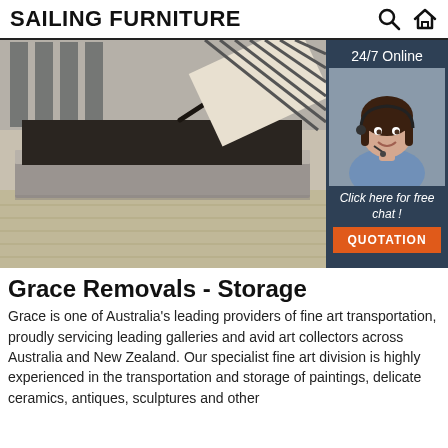SAILING FURNITURE
[Figure (photo): Storage bed with gas lift mechanism open, showing interior storage space, photographed in a room with wooden floor]
[Figure (photo): Customer service representative wearing headset, smiling. Dark navy background with '24/7 Online' text, 'Click here for free chat!' italic text, and orange QUOTATION button]
Grace Removals - Storage
Grace is one of Australia's leading providers of fine art transportation, proudly servicing leading galleries and avid art collectors across Australia and New Zealand. Our specialist fine art division is highly experienced in the transportation and storage of paintings, delicate ceramics, antiques, sculptures and other